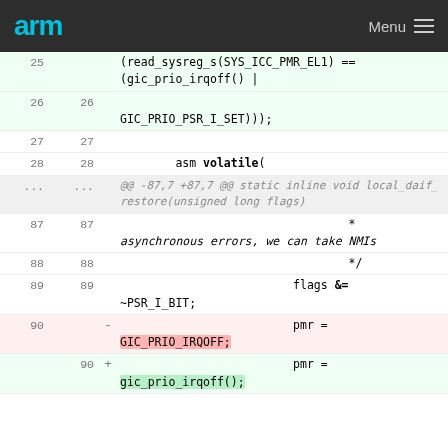arm  Menu
25  (read_sysreg_s(SYS_ICC_PMR_EL1) == (gic_prio_irqoff() |
26 26   GIC_PRIO_PSR_I_SET)));
27 27
28 28   asm volatile(
... ...  @@ -87,7 +87,7 @@ static inline void local_daif_restore(unsigned long flags)
87 87   * asynchronous errors, we can take NMIs
88 88   */
89 89   flags &= ~PSR_I_BIT;
90  -  pmr = GIC_PRIO_IRQOFF;
90 +  pmr =